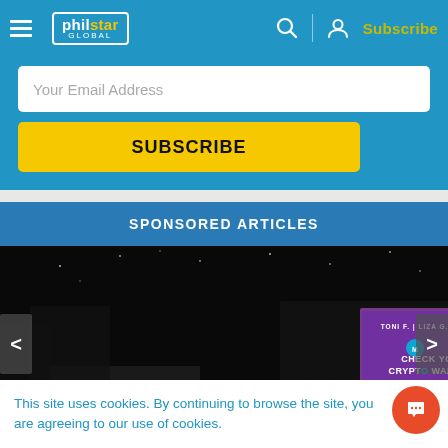philstar GLOBAL — Subscribe
Your Email Address
SUBSCRIBE
SPONSORED ARTICLES
[Figure (photo): Night-time outdoor billboard showing 'TONI F. | LIZA G. | LENI G. CHECK YOUR CRYPTO WALLET maya' with people visible on the right side]
This site uses cookies. By continuing to browse the site, you are agreeing to our use of cookies.